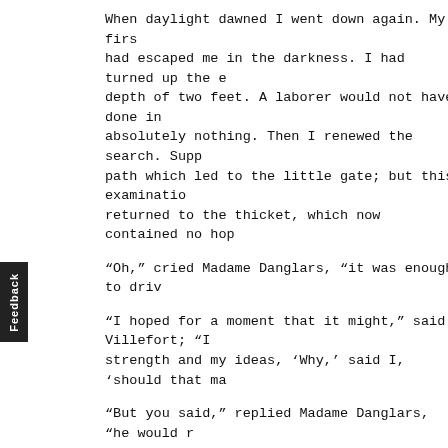When daylight dawned I went down again. My firs had escaped me in the darkness. I had turned up the e depth of two feet. A laborer would not have done in absolutely nothing. Then I renewed the search. Supp path which led to the little gate; but this examinatio returned to the thicket, which now contained no hop
"Oh," cried Madame Danglars, "it was enough to driv
"I hoped for a moment that it might," said Villefort; "I strength and my ideas, 'Why,' said I, 'should that ma
"But you said," replied Madame Danglars, "he would r
"Ah, no, madame, that could not be. Dead bodies are evidence is taken. Now, nothing of the kind has happ
"What then?" asked Hermine, trembling violently.
"Something more terrible, more fatal, more alarming have saved it!"
Madame Danglars uttered a piercing cry, and, seizin